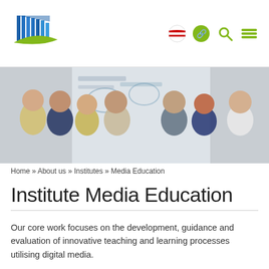[Figure (logo): Blue and green building/book logo for an educational institute]
[Figure (photo): Group of professionals in a workshop or meeting setting with a whiteboard in the background]
Home » About us » Institutes » Media Education
Institute Media Education
Our core work focuses on the development, guidance and evaluation of innovative teaching and learning processes utilising digital media.